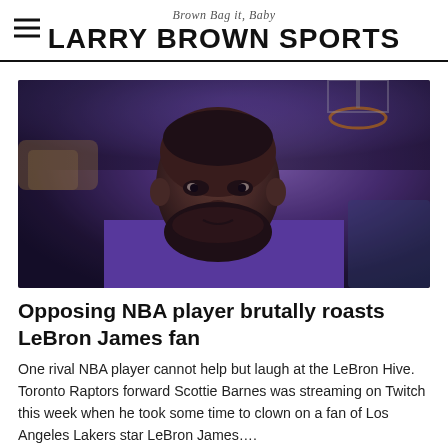Brown Bag it, Baby — LARRY BROWN SPORTS
[Figure (photo): LeBron James wearing a purple hoodie, looking to the side, on a basketball court with blurred crowd and basketball hoop in background]
Opposing NBA player brutally roasts LeBron James fan
One rival NBA player cannot help but laugh at the LeBron Hive. Toronto Raptors forward Scottie Barnes was streaming on Twitch this week when he took some time to clown on a fan of Los Angeles Lakers star LeBron James….